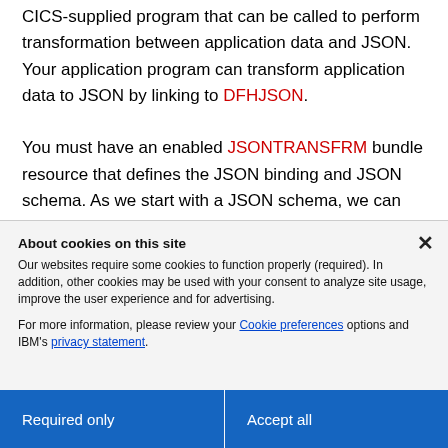CICS-supplied program that can be called to perform transformation between application data and JSON. Your application program can transform application data to JSON by linking to DFHJSON.
You must have an enabled JSONTRANSFRM bundle resource that defines the JSON binding and JSON schema. As we start with a JSON schema, we can run a DFHJS2LS batch
About cookies on this site
Our websites require some cookies to function properly (required). In addition, other cookies may be used with your consent to analyze site usage, improve the user experience and for advertising.
For more information, please review your Cookie preferences options and IBM's privacy statement.